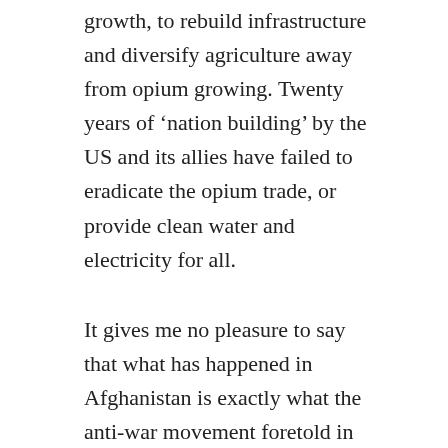growth, to rebuild infrastructure and diversify agriculture away from opium growing. Twenty years of 'nation building' by the US and its allies have failed to eradicate the opium trade, or provide clean water and electricity for all.
It gives me no pleasure to say that what has happened in Afghanistan is exactly what the anti-war movement foretold in 2001 and that today's humanitarian catastrophe is a direct result of the political choices of Bush and Blair at that time. After the attacks of 9/11, the US pursued regime change in Afghanistan. They got involved in a long-running civil war by backing the Northern Alliance against the Talib...